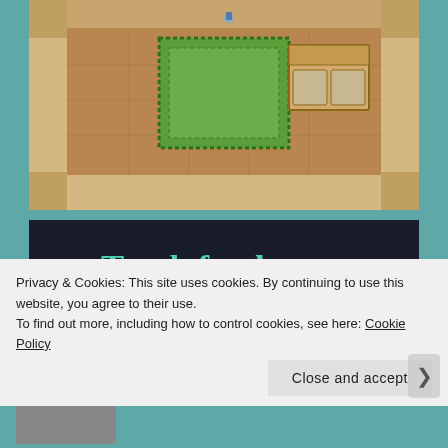[Figure (screenshot): RPG-style top-down game screenshot showing a wooden floor room interior with a green rug in the center and a chest/couch on the right side, with stone/brick border walls]
[Figure (screenshot): Advertisement banner with dark navy background showing 'Teach freely' in large teal text and 'Make money selling online courses.' in smaller teal text, with Sensei logo and 'Powered by WordPress.com' at the bottom]
Privacy & Cookies: This site uses cookies. By continuing to use this website, you agree to their use.
To find out more, including how to control cookies, see here: Cookie Policy
Close and accept